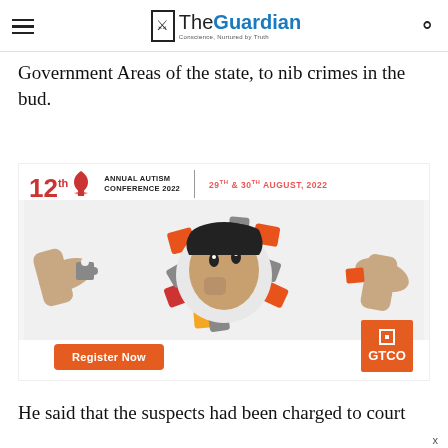The Guardian - Conscience, Nurtured by Truth
Government Areas of the state, to nib crimes in the bud.
[Figure (photo): Advertisement for 12th Annual Autism Conference 2022, 29th & 30th August 2022. Shows a child's face surrounded by puzzle pieces with hands placing pieces. Includes a 'Register Now' button and GTCO logo.]
He said that the suspects had been charged to court